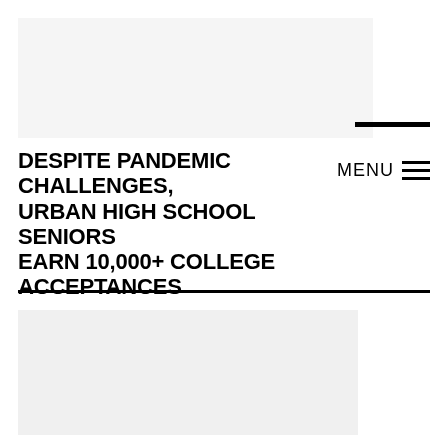[Figure (photo): Top banner image area, light gray placeholder]
DESPITE PANDEMIC CHALLENGES, URBAN HIGH SCHOOL SENIORS EARN 10,000+ COLLEGE ACCEPTANCES
JUNE 23, 2022
[Figure (photo): Bottom image area, light gray placeholder]